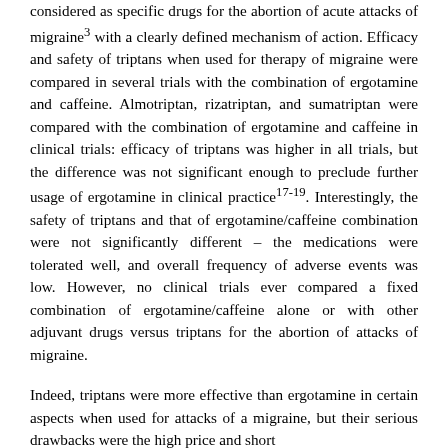considered as specific drugs for the abortion of acute attacks of migraine³ with a clearly defined mechanism of action. Efficacy and safety of triptans when used for therapy of migraine were compared in several trials with the combination of ergotamine and caffeine. Almotriptan, rizatriptan, and sumatriptan were compared with the combination of ergotamine and caffeine in clinical trials: efficacy of triptans was higher in all trials, but the difference was not significant enough to preclude further usage of ergotamine in clinical practice¹⁷⁻¹⁹. Interestingly, the safety of triptans and that of ergotamine/caffeine combination were not significantly different – the medications were tolerated well, and overall frequency of adverse events was low. However, no clinical trials ever compared a fixed combination of ergotamine/caffeine alone or with other adjuvant drugs versus triptans for the abortion of attacks of migraine.
Indeed, triptans were more effective than ergotamine in certain aspects when used for attacks of a migraine, but their serious drawbacks were the high price and short